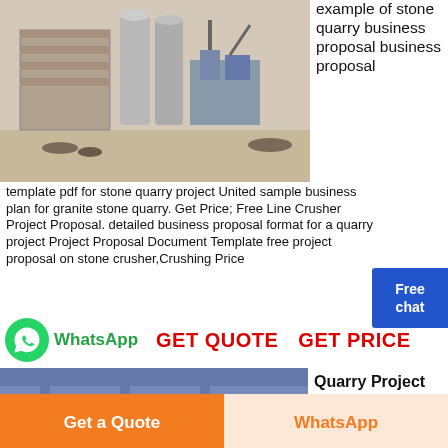[Figure (photo): Outdoor stone quarry/crusher industrial facility with machinery and equipment]
example of stone quarry business proposal business proposal template pdf for stone quarry project United sample business plan for granite stone quarry. Get Price; Free Line Crusher Project Proposal. detailed business proposal format for a quarry project Project Proposal Document Template free project proposal on stone crusher,Crushing Price
[Figure (infographic): WhatsApp icon with green phone logo and text 'WhatsApp', alongside red bold text 'GET QUOTE  GET PRICE']
[Figure (photo): Interior industrial facility showing overhead conveyor structure with red pipes]
Quarry Project Proposals By
[Figure (infographic): Free chat button with blue background]
Get a Quote
WhatsApp